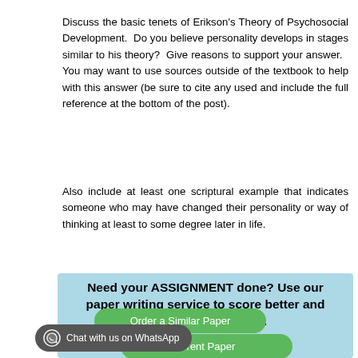Discuss the basic tenets of Erikson's Theory of Psychosocial Development.  Do you believe personality develops in stages similar to his theory?  Give reasons to support your answer.   You may want to use sources outside of the textbook to help with this answer (be sure to cite any used and include the full reference at the bottom of the post).
Also include at least one scriptural example that indicates someone who may have changed their personality or way of thinking at least to some degree later in life.
[Figure (infographic): Light blue box with bold text 'Need your ASSIGNMENT done? Use our paper writing service to score better and meet your deadlines.' with two green rounded buttons 'Order a Similar Paper' and a partially visible 'ferent Paper', and a dark grey chat widget 'Chat with us on WhatsApp' at the bottom left.]